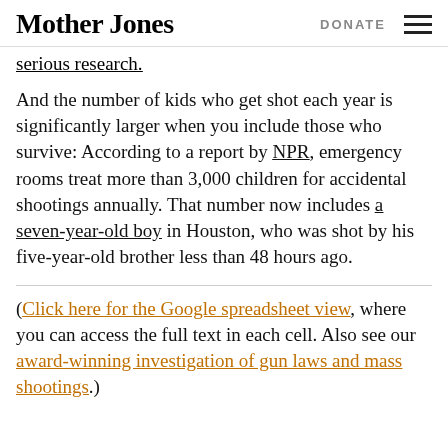Mother Jones | DONATE
serious research.
And the number of kids who get shot each year is significantly larger when you include those who survive: According to a report by NPR, emergency rooms treat more than 3,000 children for accidental shootings annually. That number now includes a seven-year-old boy in Houston, who was shot by his five-year-old brother less than 48 hours ago.
(Click here for the Google spreadsheet view, where you can access the full text in each cell. Also see our award-winning investigation of gun laws and mass shootings.)